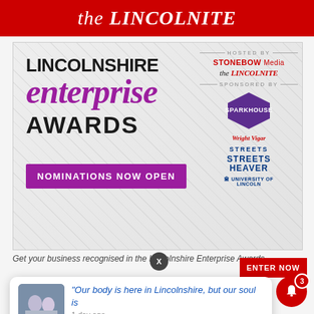the LINCOLNITE
[Figure (screenshot): Lincolnshire Enterprise Awards promotional banner. Left side: 'LINCOLNSHIRE enterprise AWARDS' text with 'enterprise' in large purple/magenta italic font. Bottom: purple 'NOMINATIONS NOW OPEN' button. Right side: Hosted by STONEBOW Media, the LINCOLNITE. Sponsored by: Sparkhouse (hexagon logo), Wright Vigar, Streets, Streets Heaver, University of Lincoln logos.]
Get your business recognised in the Lincolnshire Enterprise Awards
ENTER NOW
“Our body is here in Lincolnshire, but our soul is
1 day ago
AUGUST 27, 2022 6.00 AM